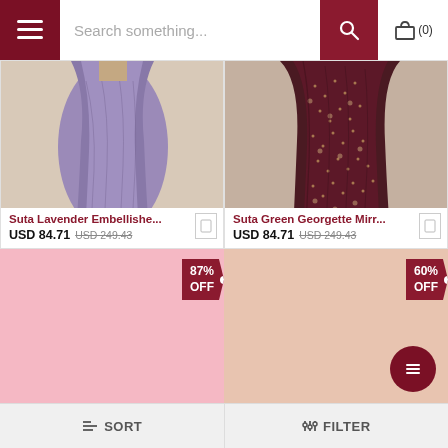Search something...
[Figure (photo): Suta Lavender Embellished saree product photo - lower half of woman wearing purple/lavender saree]
Suta Lavender Embellishe...
USD 84.71  USD 249.43
[Figure (photo): Suta Green Georgette Mirror work saree product photo - dark maroon/green saree with embellishments]
Suta Green Georgette Mirr...
USD 84.71  USD 249.43
[Figure (photo): Product card with pink/blush background, 87% OFF badge]
[Figure (photo): Product card with peach/light beige background, 60% OFF badge]
SORT   FILTER